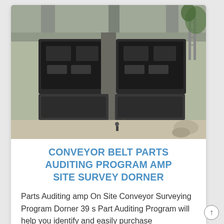[Figure (photo): Aerial/overhead view of industrial conveyor belt machinery with heavy mechanical components, motors with colored wiring (green and yellow cables visible), mounted on concrete structure outdoors.]
CONVEYOR BELT PARTS AUDITING PROGRAM AMP SITE SURVEY DORNER
Parts Auditing amp On Site Conveyor Surveying Program Dorner 39 s Part Auditing Program will help you identify and easily purchase recommended spare